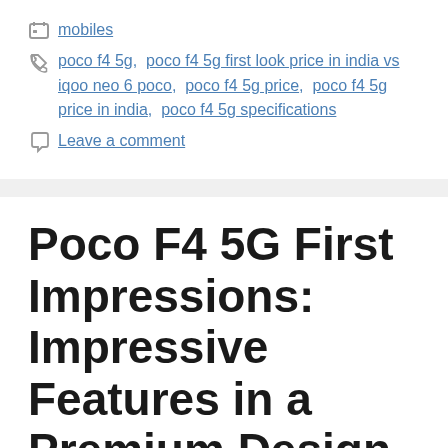mobiles
poco f4 5g, poco f4 5g first look price in india vs iqoo neo 6 poco, poco f4 5g price, poco f4 5g price in india, poco f4 5g specifications
Leave a comment
Poco F4 5G First Impressions: Impressive Features in a Premium Design